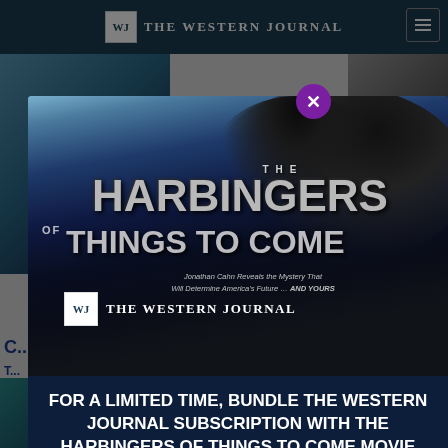THE WESTERN JOURNAL
[Figure (screenshot): Screenshot of The Western Journal website with a modal popup advertising 'The Harbingers of Things to Come' movie bundle with a Western Journal subscription. The modal shows the movie title with dark dramatic imagery, the Western Journal logo, and text: 'FOR A LIMITED TIME, BUNDLE THE WESTERN JOURNAL SUBSCRIPTION WITH THE HARBINGERS OF THINGS TO COME MOVIE'. The tagline reads 'Jonathan Cahn Reveals the Mystery That Will Determine America's Future ... AND YOURS']
THE HARBINGERS OF THINGS TO COME
Jonathan Cahn Reveals the Mystery That Will Determine America's Future ... AND YOURS
FOR A LIMITED TIME, BUNDLE THE WESTERN JOURNAL SUBSCRIPTION WITH THE HARBINGERS OF THINGS TO COME MOVIE